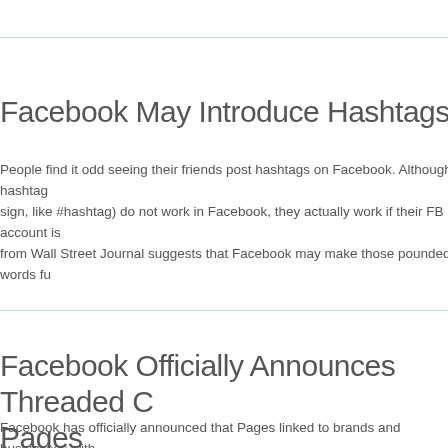Facebook May Introduce Hashtags
People find it odd seeing their friends post hashtags on Facebook. Although hashtags (words preceded by the pound sign, like #hashtag) do not work in Facebook, they actually work if their FB account is linked to Twitter. A report from Wall Street Journal suggests that Facebook may make those pounded words functional.
Continue Reading...
Facebook Officially Announces Threaded Comments for Pages
Facebook has officially announced that Pages linked to brands and businesses with a large following will now have a new threaded replies comment system. Technically, this feature has been introduced